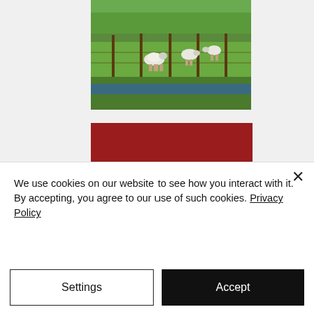[Figure (photo): Painting of sheep grazing in a green meadow with fence posts visible]
Grazing Time
81.95
[Figure (photo): Painting of a close-up view of a sheep or lamb in a pastoral landscape with blue sky and green fields]
We use cookies on our website to see how you interact with it. By accepting, you agree to our use of such cookies. Privacy Policy
Settings
Accept